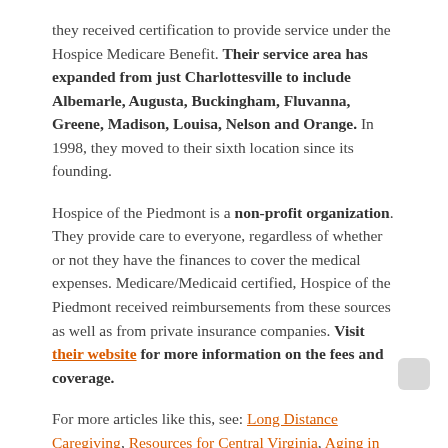they received certification to provide service under the Hospice Medicare Benefit. Their service area has expanded from just Charlottesville to include Albemarle, Augusta, Buckingham, Fluvanna, Greene, Madison, Louisa, Nelson and Orange. In 1998, they moved to their sixth location since its founding.
Hospice of the Piedmont is a non-profit organization. They provide care to everyone, regardless of whether or not they have the finances to cover the medical expenses. Medicare/Medicaid certified, Hospice of the Piedmont received reimbursements from these sources as well as from private insurance companies. Visit their website for more information on the fees and coverage.
For more articles like this, see: Long Distance Caregiving, Resources for Central Virginia, Aging in